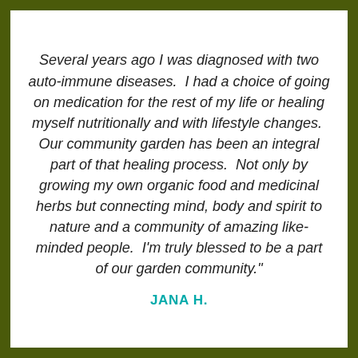Several years ago I was diagnosed with two auto-immune diseases.  I had a choice of going on medication for the rest of my life or healing myself nutritionally and with lifestyle changes.  Our community garden has been an integral part of that healing process.  Not only by growing my own organic food and medicinal herbs but connecting mind, body and spirit to nature and a community of amazing like-minded people.  I'm truly blessed to be a part of our garden community."
JANA H.